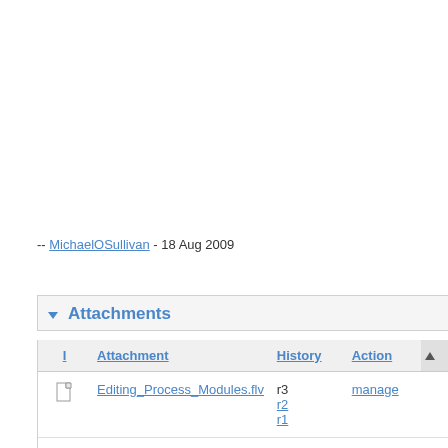-- MichaelOSullivan - 18 Aug 2009
Attachments
| I | Attachment | History | Action |
| --- | --- | --- | --- |
| [icon] | Editing_Process_Modules.flv | r3 r2 r1 | manage |
| [icon] | Editing_Queue_Animation.flv | r3 r2 | manage |